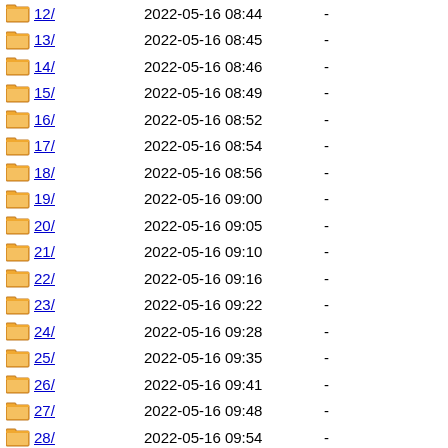12/  2022-05-16 08:44  -
13/  2022-05-16 08:45  -
14/  2022-05-16 08:46  -
15/  2022-05-16 08:49  -
16/  2022-05-16 08:52  -
17/  2022-05-16 08:54  -
18/  2022-05-16 08:56  -
19/  2022-05-16 09:00  -
20/  2022-05-16 09:05  -
21/  2022-05-16 09:10  -
22/  2022-05-16 09:16  -
23/  2022-05-16 09:22  -
24/  2022-05-16 09:28  -
25/  2022-05-16 09:35  -
26/  2022-05-16 09:41  -
27/  2022-05-16 09:48  -
28/  2022-05-16 09:54  -